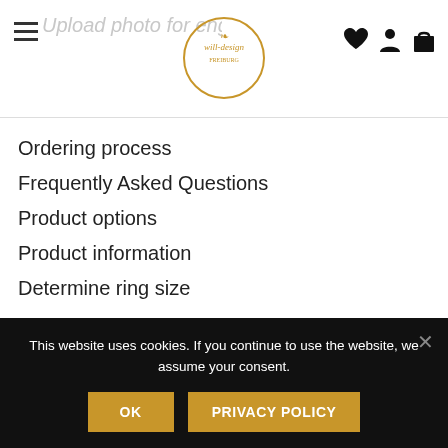will-design logo, hamburger menu, heart/user/bag icons
Ordering process
Frequently Asked Questions
Product options
Product information
Determine ring size
Infos about the partner program
Become a partner
Login for partner
Forward customer request
This website uses cookies. If you continue to use the website, we assume your consent.
OK
PRIVACY POLICY